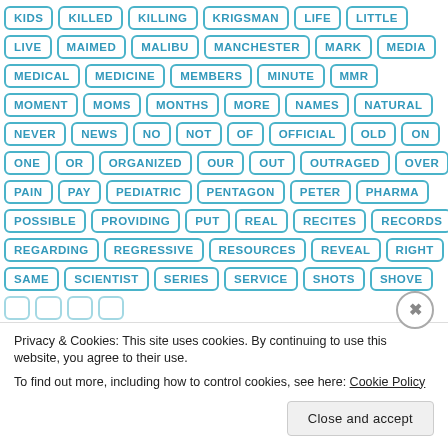[Figure (infographic): A tag cloud / word list displayed as individual bordered pill/rectangle tags in teal/blue color, arranged in rows. Words include: KIDS, KILLED, KILLING, KRIGSMAN, LIFE, LITTLE, LIVE, MAIMED, MALIBU, MANCHESTER, MARK, MEDIA, MEDICAL, MEDICINE, MEMBERS, MINUTE, MMR, MOMENT, MOMS, MONTHS, MORE, NAMES, NATURAL, NEVER, NEWS, NO, NOT, OF, OFFICIAL, OLD, ON, ONE, OR, ORGANIZED, OUR, OUT, OUTRAGED, OVER, PAIN, PAY, PEDIATRIC, PENTAGON, PETER, PHARMA, POSSIBLE, PROVIDING, PUT, REAL, RECITES, RECORDS, REGARDING, REGRESSIVE, RESOURCES, REVEAL, RIGHT, SAME, SCIENTIST, SERIES, SERVICE, SHOTS, SHOVE]
Privacy & Cookies: This site uses cookies. By continuing to use this website, you agree to their use.
To find out more, including how to control cookies, see here: Cookie Policy
Close and accept